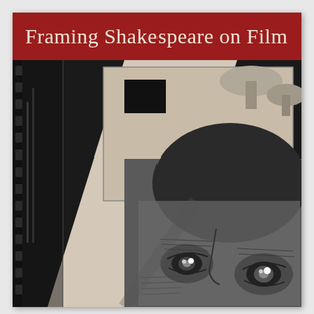Framing Shakespeare on Film
[Figure (photo): Book cover image showing a dramatic black and white photograph of a face (eyes and forehead visible), overlaid with film strip elements including a film frame with a black rectangle, and what appears to be a woodcut or engraving style portrait. The image conveys a combination of film and classical theatrical themes.]